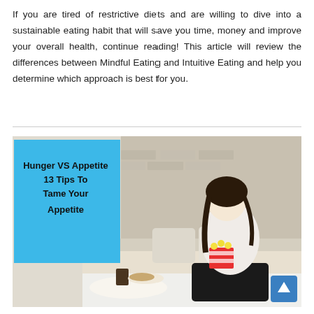If you are tired of restrictive diets and are willing to dive into a sustainable eating habit that will save you time, money and improve your overall health, continue reading! This article will review the differences between Mindful Eating and Intuitive Eating and help you determine which approach is best for you.
[Figure (illustration): Image showing a pregnant woman sitting on a couch eating popcorn, with a blue overlay box on the left containing the text 'Hunger VS Appetite 13 Tips To Tame Your Appetite'. There is a small table with drinks and food in the foreground.]